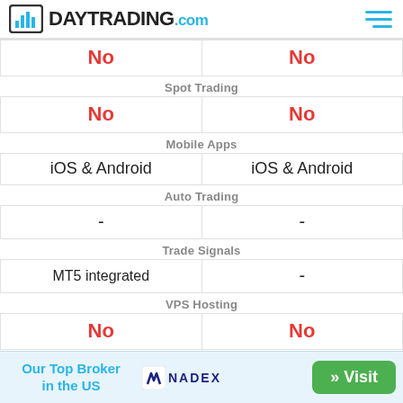DAYTRADING.com
| No | No |
| Spot Trading |  |
| No | No |
| Mobile Apps |  |
| iOS & Android | iOS & Android |
| Auto Trading |  |
| - | - |
| Trade Signals |  |
| MT5 integrated | - |
| VPS Hosting |  |
| No | No |
| Tournaments |  |
Our Top Broker in the US  NADEX  » Visit